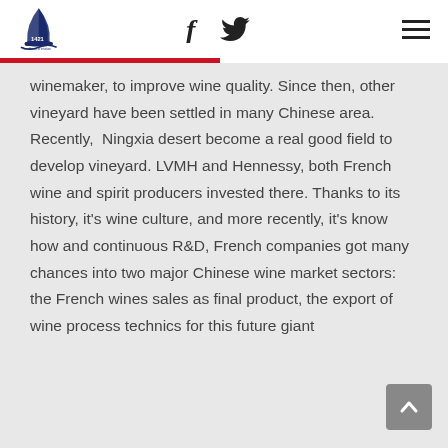1421 logo, Facebook and Twitter social icons, hamburger menu
winemaker, to improve wine quality. Since then, other vineyard have been settled in many Chinese area. Recently, Ningxia desert become a real good field to develop vineyard. LVMH and Hennessy, both French wine and spirit producers invested there. Thanks to its history, it's wine culture, and more recently, it's know how and continuous R&D, French companies got many chances into two major Chinese wine market sectors: the French wines sales as final product, the export of wine process technics for this future giant